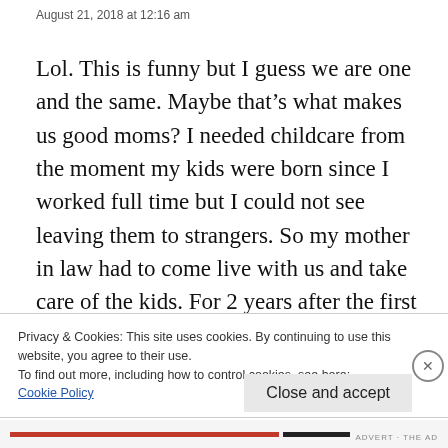August 21, 2018 at 12:16 am
Lol. This is funny but I guess we are one and the same. Maybe that’s what makes us good moms? I needed childcare from the moment my kids were born since I worked full time but I could not see leaving them to strangers. So my mother in law had to come live with us and take care of the kids. For 2 years after the first and a year and half after the second. If you knew me you’d know that the last thing I
Privacy & Cookies: This site uses cookies. By continuing to use this website, you agree to their use.
To find out more, including how to control cookies, see here:
Cookie Policy
Close and accept